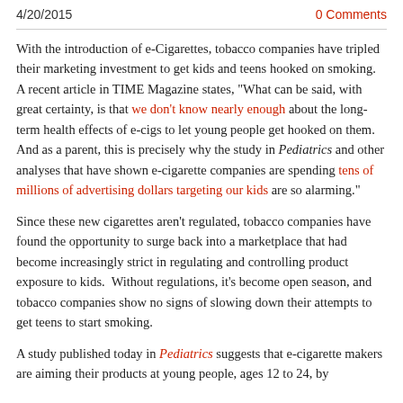4/20/2015   0 Comments
With the introduction of e-Cigarettes, tobacco companies have tripled their marketing investment to get kids and teens hooked on smoking. A recent article in TIME Magazine states, "What can be said, with great certainty, is that we don't know nearly enough about the long-term health effects of e-cigs to let young people get hooked on them. And as a parent, this is precisely why the study in Pediatrics and other analyses that have shown e-cigarette companies are spending tens of millions of advertising dollars targeting our kids are so alarming."
Since these new cigarettes aren't regulated, tobacco companies have found the opportunity to surge back into a marketplace that had become increasingly strict in regulating and controlling product exposure to kids.  Without regulations, it's become open season, and tobacco companies show no signs of slowing down their attempts to get teens to start smoking.
A study published today in Pediatrics suggests that e-cigarette makers are aiming their products at young people, ages 12 to 24, by